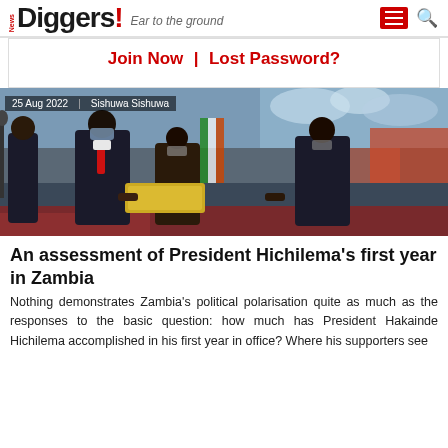News Diggers! Ear to the ground
Join Now | Lost Password?
[Figure (photo): President Hichilema in suit with red tie and face mask receiving an item at a ceremony, flanked by officials also in suits and masks, with crowd and colorful decorations in background.]
25 Aug 2022 | Sishuwa Sishuwa
An assessment of President Hichilema's first year in Zambia
Nothing demonstrates Zambia's political polarisation quite as much as the responses to the basic question: how much has President Hakainde Hichilema accomplished in his first year in office? Where his supporters see